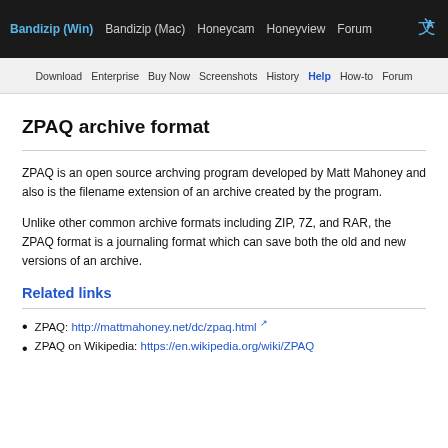Bandizip (Win) | Bandizip (Mac) | Honeycam | Honeyview | Forum
Download | Enterprise | Buy Now | Screenshots | History | Help | How-to | Forum
ZPAQ archive format
ZPAQ is an open source archving program developed by Matt Mahoney and also is the filename extension of an archive created by the program.
Unlike other common archive formats including ZIP, 7Z, and RAR, the ZPAQ format is a journaling format which can save both the old and new versions of an archive.
Related links
ZPAQ: http://mattmahoney.net/dc/zpaq.html
ZPAQ on Wikipedia: https://en.wikipedia.org/wiki/ZPAQ